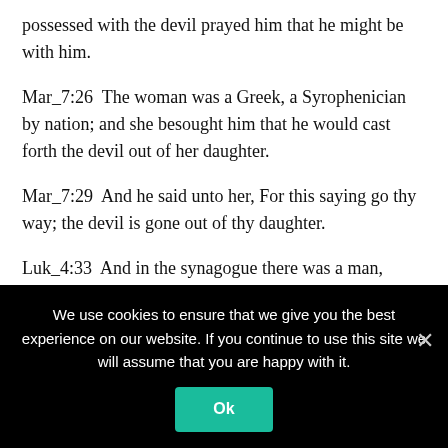possessed with the devil prayed him that he might be with him.
Mar_7:26  The woman was a Greek, a Syrophenician by nation; and she besought him that he would cast forth the devil out of her daughter.
Mar_7:29  And he said unto her, For this saying go thy way; the devil is gone out of thy daughter.
Luk_4:33  And in the synagogue there was a man, which had a spirit of an unclean devil, and cried out with a loud voice.
Luk_4:35  And Jesus rebuked him, saying, Hold thy peace, and
We use cookies to ensure that we give you the best experience on our website. If you continue to use this site we will assume that you are happy with it.
Ok